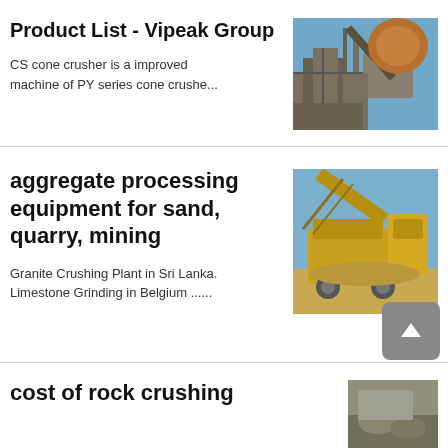Product List - Vipeak Group
CS cone crusher is a improved machine of PY series cone crushe...
[Figure (photo): Industrial crushing/mining plant machinery with conveyor and structure against blue sky]
aggregate processing equipment for sand, quarry, mining
Granite Crushing Plant in Sri Lanka. Limestone Grinding in Belgium ......
[Figure (photo): Yellow aggregate processing/crushing equipment operating outdoors]
[Figure (photo): Small broken image icon placeholder]
cost of rock crushing